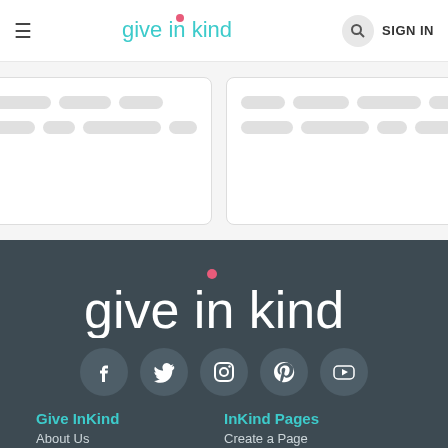≡  give in kind  🔍 SIGN IN
[Figure (screenshot): Two loading skeleton cards with placeholder rows shown on a light grey background]
[Figure (logo): Give InKind logo in white on dark background footer, with social media icons below: Facebook, Twitter, Instagram, Pinterest, YouTube]
Give InKind
InKind Pages
About Us
Create a Page